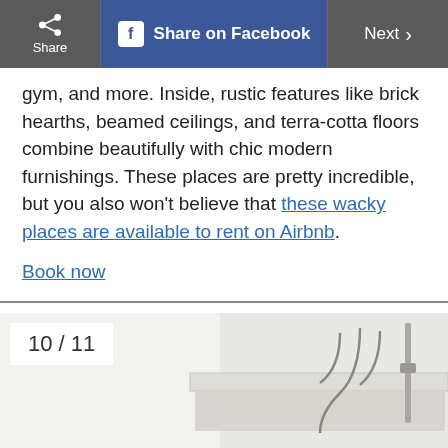Share | Share on Facebook | Next >
gym, and more. Inside, rustic features like brick hearths, beamed ceilings, and terra-cotta floors combine beautifully with chic modern furnishings. These places are pretty incredible, but you also won't believe that these wacky places are available to rent on Airbnb.
Book now
[Figure (photo): Interior photo showing white minimalist space with metal decorative hooks or hangers on wall; slide 10 of 11 indicator shown]